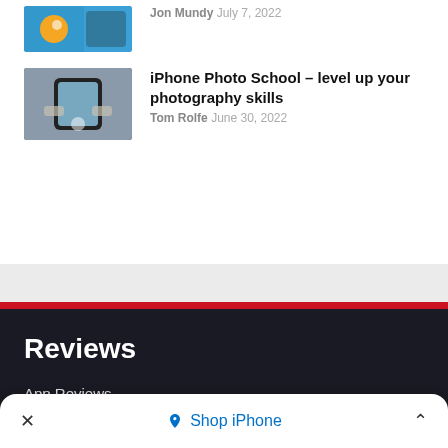Jon Mundy July 7, 2022
[Figure (photo): Thumbnail image of a game with orange cartoon character on blue background]
[Figure (photo): Thumbnail of hands holding iPhone taking a photo outdoors]
iPhone Photo School – level up your photography skills
Tom Rolfe June 30, 2022
Reviews
App Reviews
Games Reviews
Hardware Reviews
Shop iPhone